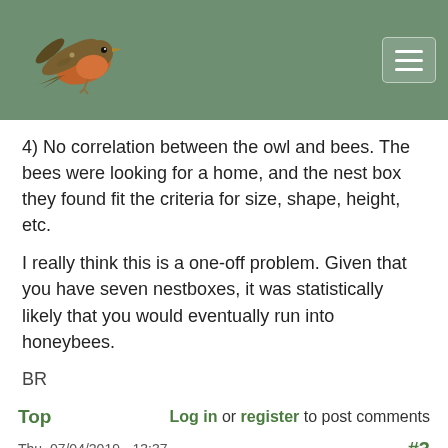[Figure (illustration): Website header bar with a bird (robin/finch) illustration on a muted green background and a hamburger menu button on the right]
4) No correlation between the owl and bees. The bees were looking for a home, and the nest box they found fit the criteria for size, shape, height, etc.
I really think this is a one-off problem. Given that you have seven nestboxes, it was statistically likely that you would eventually run into honeybees.
BR
Top    Log in or register to post comments
Thu, 07/04/2019 - 13:37    #3
UrbanWild